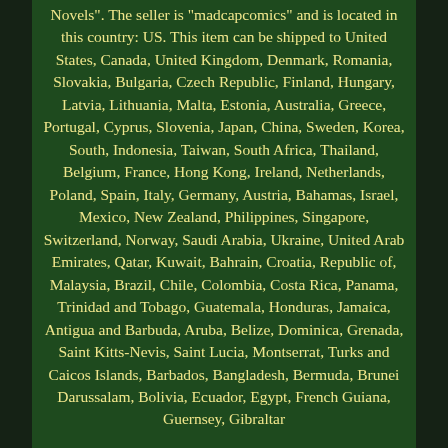Novels". The seller is "madcapcomics" and is located in this country: US. This item can be shipped to United States, Canada, United Kingdom, Denmark, Romania, Slovakia, Bulgaria, Czech Republic, Finland, Hungary, Latvia, Lithuania, Malta, Estonia, Australia, Greece, Portugal, Cyprus, Slovenia, Japan, China, Sweden, Korea, South, Indonesia, Taiwan, South Africa, Thailand, Belgium, France, Hong Kong, Ireland, Netherlands, Poland, Spain, Italy, Germany, Austria, Bahamas, Israel, Mexico, New Zealand, Philippines, Singapore, Switzerland, Norway, Saudi Arabia, Ukraine, United Arab Emirates, Qatar, Kuwait, Bahrain, Croatia, Republic of, Malaysia, Brazil, Chile, Colombia, Costa Rica, Panama, Trinidad and Tobago, Guatemala, Honduras, Jamaica, Antigua and Barbuda, Aruba, Belize, Dominica, Grenada, Saint Kitts-Nevis, Saint Lucia, Montserrat, Turks and Caicos Islands, Barbados, Bangladesh, Bermuda, Brunei Darussalam, Bolivia, Ecuador, Egypt, French Guiana, Guernsey, Gibraltar